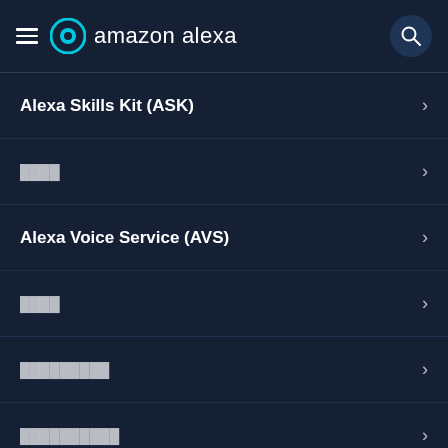amazon alexa
Alexa Skills Kit (ASK)
████
Alexa Voice Service (AVS)
████
█████████
██████████
███
████